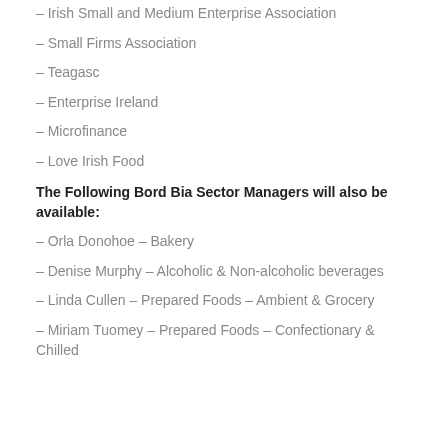– Irish Small and Medium Enterprise Association
– Small Firms Association
– Teagasc
– Enterprise Ireland
– Microfinance
– Love Irish Food
The Following Bord Bia Sector Managers will also be available:
– Orla Donohoe – Bakery
– Denise Murphy – Alcoholic & Non-alcoholic beverages
– Linda Cullen – Prepared Foods – Ambient & Grocery
– Miriam Tuomey – Prepared Foods – Confectionary & Chilled